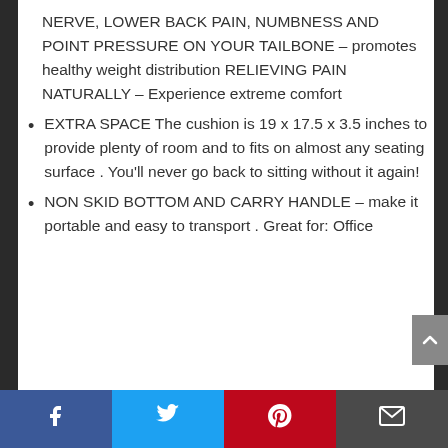NERVE, LOWER BACK PAIN, NUMBNESS AND POINT PRESSURE ON YOUR TAILBONE – promotes healthy weight distribution RELIEVING PAIN NATURALLY – Experience extreme comfort
EXTRA SPACE The cushion is 19 x 17.5 x 3.5 inches to provide plenty of room and to fits on almost any seating surface . You’ll never go back to sitting without it again!
NON SKID BOTTOM AND CARRY HANDLE – make it portable and easy to transport . Great for: Office